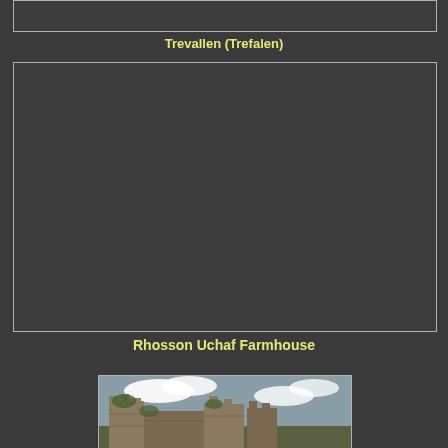[Figure (photo): Top image box - partially visible image from previous section]
Trevallen (Trefalen)
[Figure (photo): Large dark/empty image box for Rhosson Uchaf Farmhouse]
Rhosson Uchaf Farmhouse
[Figure (photo): Partial photo of ruined castle with stone towers against cloudy sky]